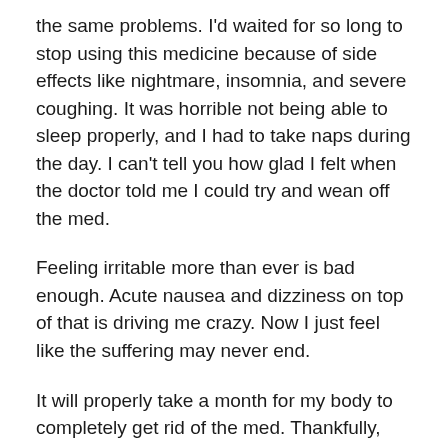the same problems. I'd waited for so long to stop using this medicine because of side effects like nightmare, insomnia, and severe coughing. It was horrible not being able to sleep properly, and I had to take naps during the day. I can't tell you how glad I felt when the doctor told me I could try and wean off the med.
Feeling irritable more than ever is bad enough. Acute nausea and dizziness on top of that is driving me crazy. Now I just feel like the suffering may never end.
It will properly take a month for my body to completely get rid of the med. Thankfully, the gym is reopening next week. I hope I can go to the gym, though. I still don't know how bad next week will be. There's no other choices but to endure it.